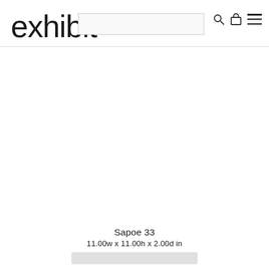exhibit
[Figure (other): Product image area - blank/white product display area for artwork]
Sapoe 33
11.00w x 11.00h x 2.00d in
$450.00